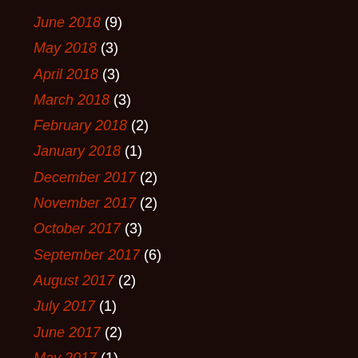June 2018 (9)
May 2018 (3)
April 2018 (3)
March 2018 (3)
February 2018 (2)
January 2018 (1)
December 2017 (2)
November 2017 (2)
October 2017 (3)
September 2017 (6)
August 2017 (2)
July 2017 (1)
June 2017 (2)
May 2017 (1)
March 2017 (2)